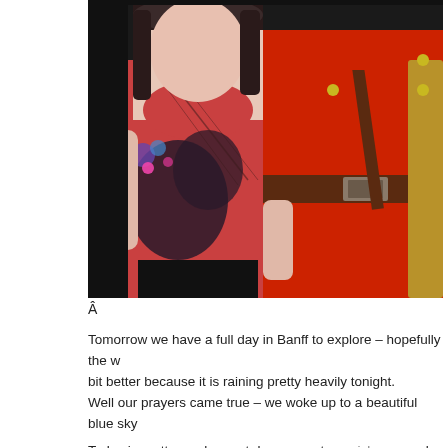[Figure (photo): Two people standing together. On the left, a woman wearing a pink/coral graphic t-shirt with dark floral print. On the right, a person wearing a red RCMP (Royal Canadian Mounted Police) uniform with a brown leather belt and cross-strap.]
Â
Tomorrow we have a full day in Banff to explore – hopefully the w bit better because it is raining pretty heavily tonight.
Well our prayers came true – we woke up to a beautiful blue sky
Today is pretty much a rest day on our tour, sickness and therefo explore the town.Â  Kerrina has one word...Â  SHOPPING!